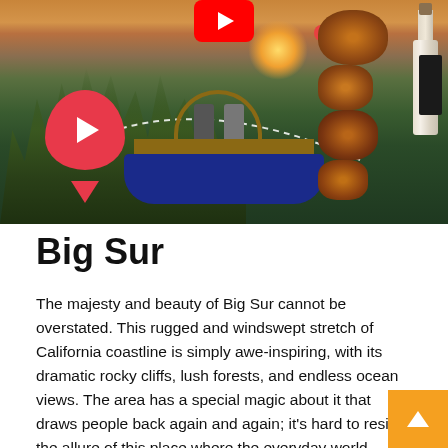[Figure (photo): A composite image showing a scenic California landscape with trees and sunset sky, a gondola-style boat with people riding it, fried chicken pieces, a wine bottle, YouTube logo, a red location pin with play button, dashed curve line, and hot air balloons in the background.]
Big Sur
The majesty and beauty of Big Sur cannot be overstated. This rugged and windswept stretch of California coastline is simply awe-inspiring, with its dramatic rocky cliffs, lush forests, and endless ocean views. The area has a special magic about it that draws people back again and again; it's hard to resist the allure of this place where the everyday world seems to fade away into insignificance.
Big Sur is located approximately 250 miles south of San Francisco on Highway 1, which winds along the coast for alr 100 miles. The drive from Carmel north to San Simeon is or